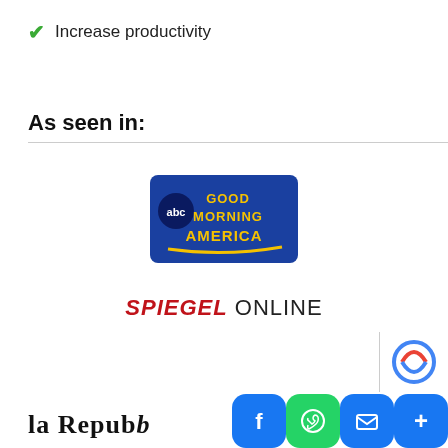✓ Increase productivity
As seen in:
[Figure (logo): ABC Good Morning America logo — blue rounded rectangle with 'abc' in white circle, 'GOOD MORNING AMERICA' in bold yellow/gold text on blue background]
[Figure (logo): Spiegel Online logo — 'SPIEGEL' in bold italic red, 'ONLINE' in regular black/dark text]
la Repubb…
[Figure (screenshot): Social share bar with Facebook (blue), WhatsApp (green), Email (blue), Share-more (blue) buttons and partial reCAPTCHA badge]